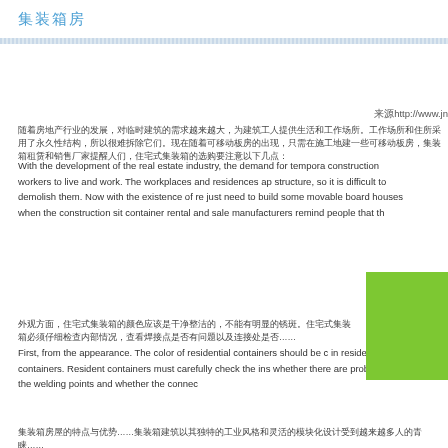集装箱房
来源http://www.jn...
随着房地产行业的发展，对临时建筑的需求越来越大，为建筑工人提供生活和工作场所。工作场所和住所采用了永久性结构，所以很难拆除它们。现在随着可移动板房的出现，只需在建工地建一些可移动板房，集装箱租赁和销售厂商提醒人们……
With the development of the real estate industry, the demand for tempora construction workers to live and work. The workplaces and residences ap structure, so it is difficult to demolish them. Now with the existence of re just need to build some movable board houses when the construction sit container rental and sale manufacturers remind people that th
外观方面……
First, from the appearance. The color of residential containers should be c in residential containers. Resident containers must carefully check the ins whether there are problems in the welding points and whether the connec
中文文字行……